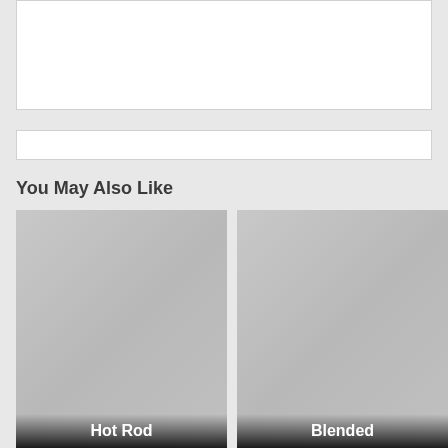[Figure (other): White rectangular box at the top of the page, likely a content/image area placeholder]
[Figure (other): White search/input bar below the top white box]
You May Also Like
[Figure (photo): Gray placeholder image card labeled 'Hot Rod' at the bottom]
[Figure (photo): Gray placeholder image card labeled 'Blended' at the bottom]